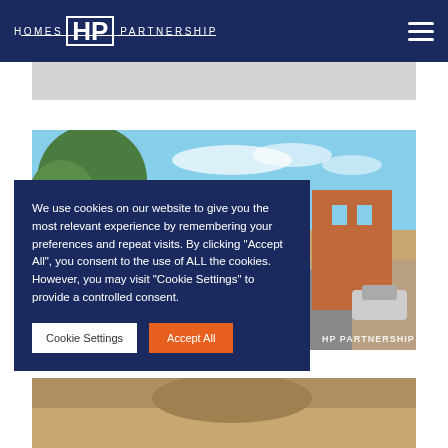HOMES HP PARTNERSHIP
[Figure (photo): Street scene photo of a residential area with trees and brick buildings under blue sky, with HP Partnership watermark]
We use cookies on our website to give you the most relevant experience by remembering your preferences and repeat visits. By clicking “Accept All”, you consent to the use of ALL the cookies. However, you may visit "Cookie Settings" to provide a controlled consent.
Cookie Settings | Accept All
[Figure (photo): Bottom strip of another property photo]